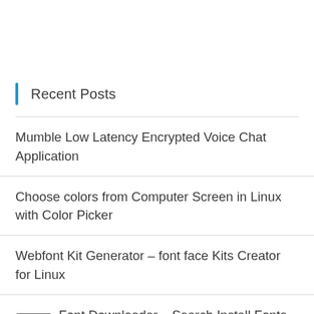Recent Posts
Mumble Low Latency Encrypted Voice Chat Application
Choose colors from Computer Screen in Linux with Color Picker
Webfont Kit Generator – font face Kits Creator for Linux
Font Downloader – Search Install Fonts In Linux